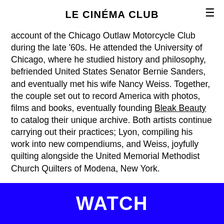LE CINÉMA CLUB
account of the Chicago Outlaw Motorcycle Club during the late '60s. He attended the University of Chicago, where he studied history and philosophy, befriended United States Senator Bernie Sanders, and eventually met his wife Nancy Weiss. Together, the couple set out to record America with photos, films and books, eventually founding Bleak Beauty to catalog their unique archive. Both artists continue carrying out their practices; Lyon, compiling his work into new compendiums, and Weiss, joyfully quilting alongside the United Memorial Methodist Church Quilters of Modena, New York.
WATCH